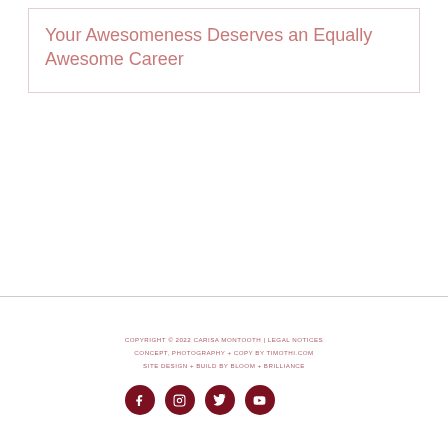Your Awesomeness Deserves an Equally Awesome Career
COPYRIGHT © 2022 CARISA MONTOOTH | LEGAL NOTICES
CONCEPT, PHOTOGRAPHY + COPY BY TIMOTHI.COM
SITE DESIGN + BUILD BY BLOOM + BRILLIANCE